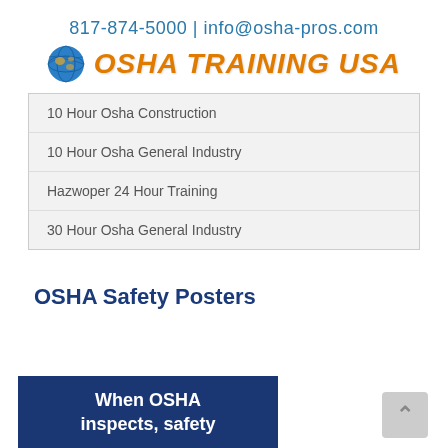817-874-5000 | info@osha-pros.com
[Figure (logo): OSHA Training USA logo with globe icon and orange bold italic text]
10 Hour Osha Construction
10 Hour Osha General Industry
Hazwoper 24 Hour Training
30 Hour Osha General Industry
OSHA Safety Posters
[Figure (illustration): Dark blue poster banner reading 'When OSHA inspects, safety']